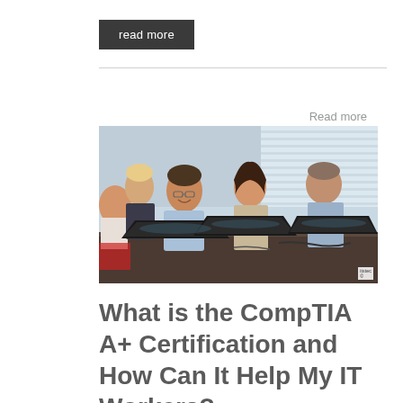read more
Read more
[Figure (photo): Group of professionals sitting at a long desk in a classroom or seminar setting, each working on a laptop, smiling and engaged. Office/conference room background with venetian blinds visible. Watermark logo in lower right corner.]
What is the CompTIA A+ Certification and How Can It Help My IT Workers?